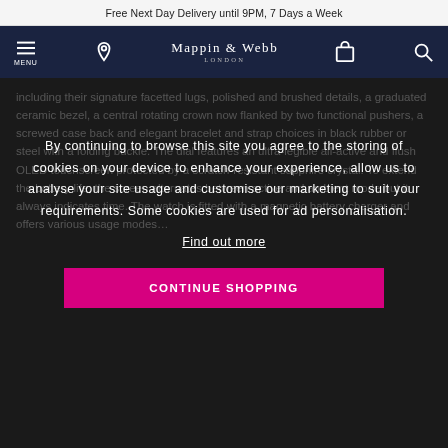Free Next Day Delivery until 9PM, 7 Days a Week
[Figure (logo): Mappin & Webb London logo with menu, location, bag and search icons on dark navy navigation bar]
including their signature facetted lugs, polished and brushed details, a graduated ceramic bezel, a central rotating crown now flanked by two functional pushers, a screwed case back and elegant bracelet and strap choices in black rubber or steel with a folding buckle. The dial features an ultra-legible all-active and flush OLED touchscreen protected by a scratch-resistant sapphire crystal. To extend the battery life, the screen alternates between active and ambient mode but it always indicates time. The watch is fitted with a magnetic battery charger and offers various usage modes…
By continuing to browse this site you agree to the storing of cookies on your device to enhance your experience, allow us to analyse your site usage and customise our marketing to suit your requirements. Some cookies are used for ad personalisation.
Find out more
CONTINUE SHOPPING